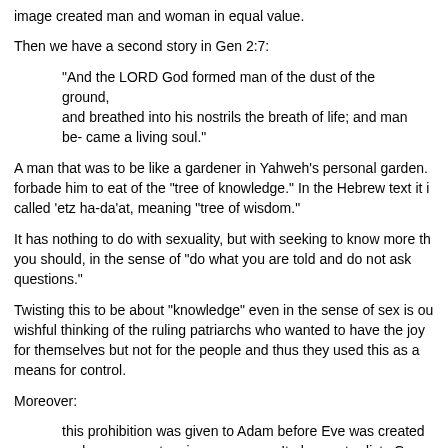image created man and woman in equal value.
Then we have a second story in Gen 2:7:
"And the LORD God formed man of the dust of the ground, and breathed into his nostrils the breath of life; and man be- came a living soul."
A man that was to be like a gardener in Yahweh's personal garden. forbade him to eat of the "tree of knowledge." In the Hebrew text it i called 'etz ha-da'at, meaning "tree of wisdom."
It has nothing to do with sexuality, but with seeking to know more th you should, in the sense of "do what you are told and do not ask questions."
Twisting this to be about "knowledge" even in the sense of sex is ou wishful thinking of the ruling patriarchs who wanted to have the joy for themselves but not for the people and thus they used this as a means for control.
Moreover:
this prohibition was given to Adam before Eve was created and sex was not an issue, anyway. It also contradicts Gen 1:28: "…be fruitful, and multiply…" and it explains how the children of Adam and Eve could marry!